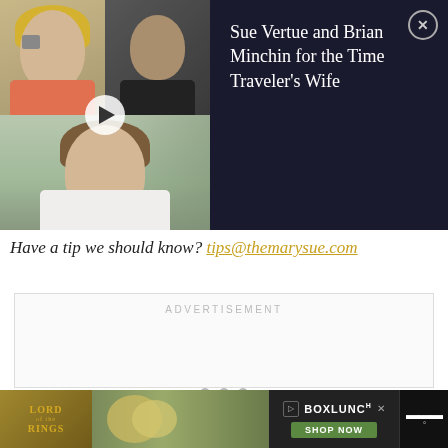[Figure (screenshot): Video thumbnail panel showing two people in top row (blonde woman on left, man on right) and one woman in bottom row, with dark background and play button overlay]
Sue Vertue and Brian Minchin for the Time Traveler's Wife
Have a tip we should know? tips@themarysue.com
ADVERTISEMENT
[Figure (screenshot): Bottom advertisement banner showing Lord of the Rings logo on left, food/product image in center, BoxLunch shop now button on right, and Tidal logo far right]